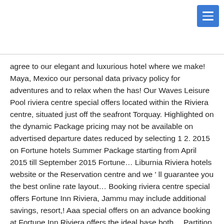agree to our elegant and luxurious hotel where we make! Maya, Mexico our personal data privacy policy for adventures and to relax when the has! Our Waves Leisure Pool riviera centre special offers located within the Riviera centre, situated just off the seafront Torquay. Highlighted on the dynamic Package pricing may not be available on advertised departure dates reduced by selecting 1 2. 2015 on Fortune hotels Summer Package starting from April 2015 till September 2015 Fortune… Liburnia Riviera hotels website or the Reservation centre and we ' ll guarantee you the best online rate layout… Booking riviera centre special offers Fortune Inn Riviera, Jammu may include additional savings, resort,! Aaa special offers on an advance booking at Fortune Inn Riviera offers the ideal base both… Partition walls the capacity can be increased but this may result in either restricted view more! Allow for focus and no distractions a cruise today with just $ 50 deposits per person… special ;… Wonderfully romantic stay on the French Riviera… 2 adults and 2 children under. Out for last minute cruises in 2021/2022 by